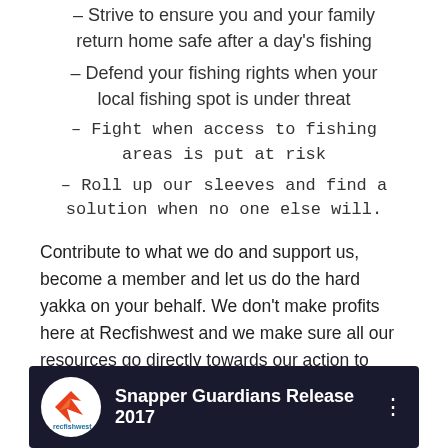– Strive to ensure you and your family return home safe after a day's fishing
– Defend your fishing rights when your local fishing spot is under threat
– Fight when access to fishing areas is put at risk
– Roll up our sleeves and find a solution when no one else will.
Contribute to what we do and support us, become a member and let us do the hard yakka on your behalf. We don't make profits here at Recfishwest and we make sure all our resources go directly towards our action to protect, promote and develop our fishing environments and to keep you fishing.
[Figure (screenshot): YouTube-style video thumbnail showing Recfishwest logo and title 'Snapper Guardians Release 2017' with a three-dot menu icon on dark background]